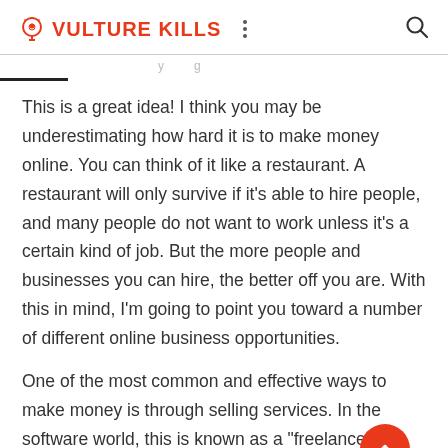VULTURE KILLS
This is a great idea! I think you may be underestimating how hard it is to make money online. You can think of it like a restaurant. A restaurant will only survive if it's able to hire people, and many people do not want to work unless it's a certain kind of job. But the more people and businesses you can hire, the better off you are. With this in mind, I'm going to point you toward a number of different online business opportunities.
One of the most common and effective ways to make money is through selling services. In the software world, this is known as a "freelance" business. In the online world, this